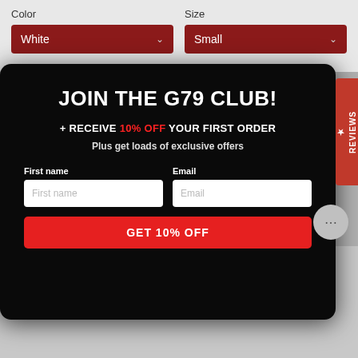Color
White
Size
Small
JOIN THE G79 CLUB!
+ RECEIVE 10% OFF YOUR FIRST ORDER
Plus get loads of exclusive offers
First name
Email
GET 10% OFF
★ REVIEWS
Good everyday T'shirt that you can wear casually or to a work with a jacket.
This garment will be around for a while and